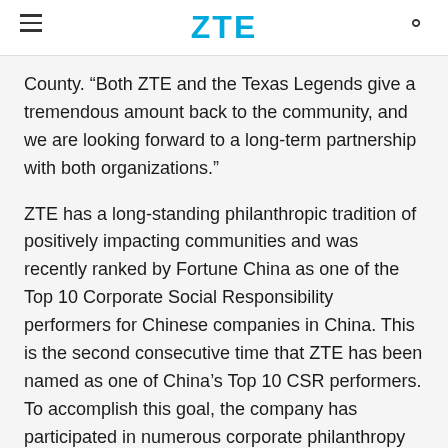ZTE
County. “Both ZTE and the Texas Legends give a tremendous amount back to the community, and we are looking forward to a long-term partnership with both organizations.”
ZTE has a long-standing philanthropic tradition of positively impacting communities and was recently ranked by Fortune China as one of the Top 10 Corporate Social Responsibility performers for Chinese companies in China. This is the second consecutive time that ZTE has been named as one of China’s Top 10 CSR performers. To accomplish this goal, the company has participated in numerous corporate philanthropy initiatives around the globe.